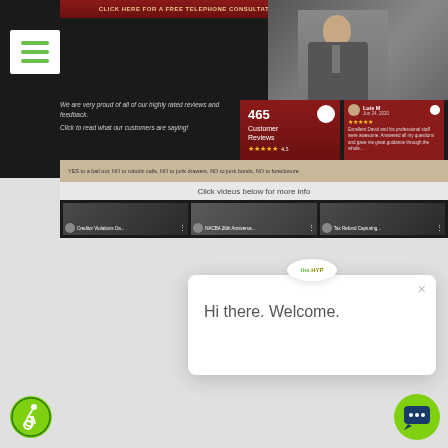[Figure (screenshot): Website screenshot of a legal services firm. Top section shows a dark header with 'Click Here for a FREE Telephone Consultation' button, a man in a suit, a reviews section showing '465 Customer Reviews' with 4.5 stars, and a customer review snippet from 'Luis M'. Below is a tan/beige banner with text 'YES to a bail out, NO to robotic calls, NO to junk drawers, NO to junk bonds, NO to foreclosure' and a 'Read More' button. Then a section saying 'Click videos below for more info' with three video thumbnails: 'Creditor Violations Da...', 'NACBA 26th Anniversa...', and 'Tax Refund Capturing...']
[Figure (screenshot): Chat widget popup with 'the.HYP' logo at top, an X close button, and text 'Hi there. Welcome.']
[Figure (logo): Accessibility icon - green circle with wheelchair user symbol]
[Figure (logo): Green circle chat/messaging button with chat bubble icon]